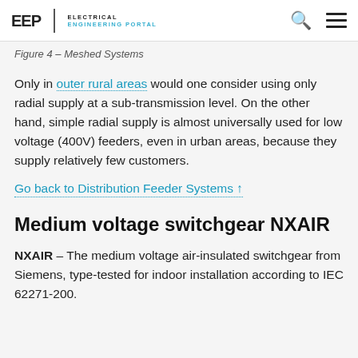EEP | ELECTRICAL ENGINEERING PORTAL
Figure 4 – Meshed Systems
Only in outer rural areas would one consider using only radial supply at a sub-transmission level. On the other hand, simple radial supply is almost universally used for low voltage (400V) feeders, even in urban areas, because they supply relatively few customers.
Go back to Distribution Feeder Systems ↑
Medium voltage switchgear NXAIR
NXAIR – The medium voltage air-insulated switchgear from Siemens, type-tested for indoor installation according to IEC 62271-200.